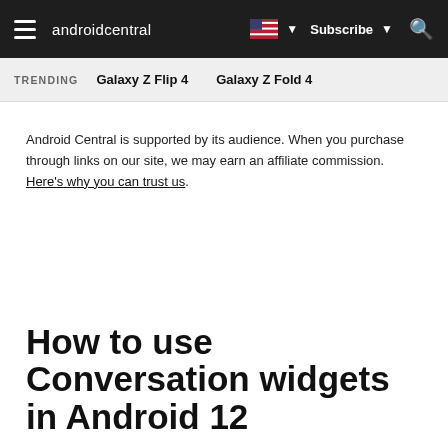androidcentral  Subscribe
TRENDING  Galaxy Z Flip 4  Galaxy Z Fold 4
Android Central is supported by its audience. When you purchase through links on our site, we may earn an affiliate commission. Here's why you can trust us.
How to use Conversation widgets in Android 12